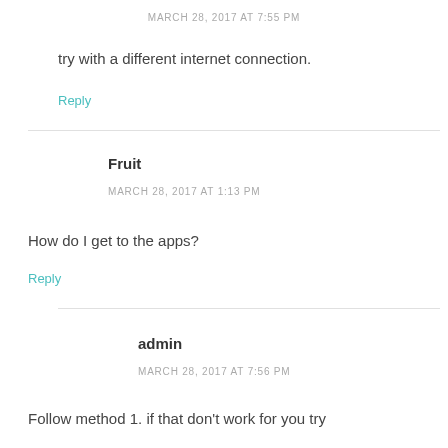MARCH 28, 2017 AT 7:55 PM
try with a different internet connection.
Reply
Fruit
MARCH 28, 2017 AT 1:13 PM
How do I get to the apps?
Reply
admin
MARCH 28, 2017 AT 7:56 PM
Follow method 1. if that don't work for you try